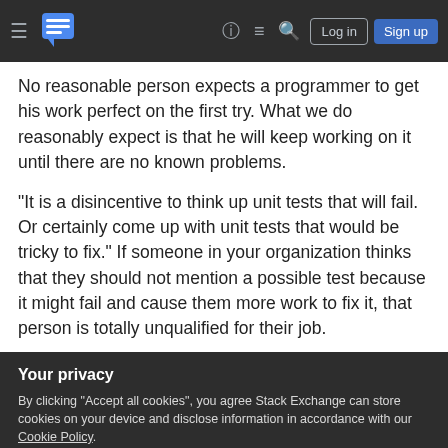Stack Exchange navigation bar with hamburger menu, logo, help, chat, search, Log in, Sign up
No reasonable person expects a programmer to get his work perfect on the first try. What we do reasonably expect is that he will keep working on it until there are no known problems.
"It is a disincentive to think up unit tests that will fail. Or certainly come up with unit tests that would be tricky to fix." If someone in your organization thinks that they should not mention a possible test because it might fail and cause them more work to fix it, that person is totally unqualified for their job.
Your privacy
By clicking "Accept all cookies", you agree Stack Exchange can store cookies on your device and disclose information in accordance with our Cookie Policy.
Accept all cookies | Customize settings